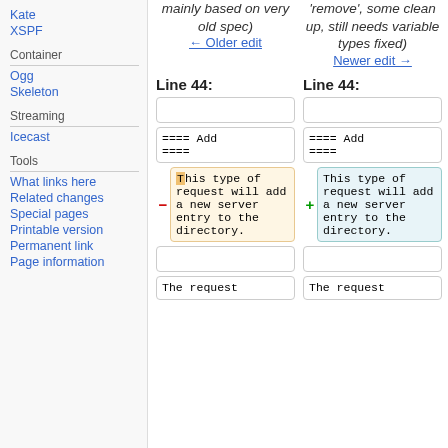mainly based on very old spec)
← Older edit
'remove', some clean up, still needs variable types fixed)
Newer edit →
Kate
XSPF
Container
Ogg
Skeleton
Streaming
Icecast
Tools
What links here
Related changes
Special pages
Printable version
Permanent link
Page information
Line 44:
Line 44:
==== Add ====
==== Add ====
This type of request will add a new server entry to the directory.
This type of request will add a new server entry to the directory.
The request
The request